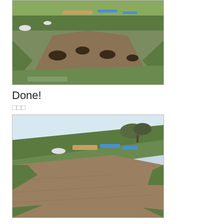[Figure (photo): Outdoor photo of a grassy hillside with dirt mounds and scattered debris/trash in the background. Green grass and brown disturbed earth visible.]
Done!
□□□
[Figure (photo): Outdoor photo of a grassy hillside after cleanup. Green grass on slope with remaining debris/blue tarps visible in upper portion. Brown dirt slope in center.]
It took me 2-3 hours for this work, if I remember correctly.